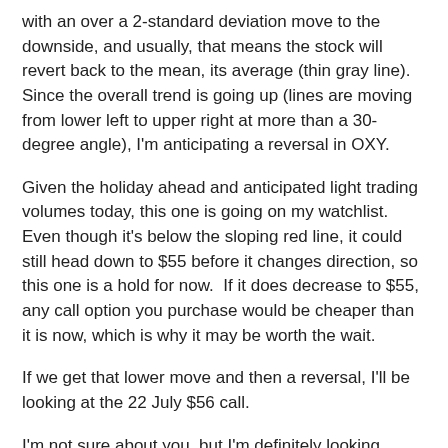with an over a 2-standard deviation move to the downside, and usually, that means the stock will revert back to the mean, its average (thin gray line).  Since the overall trend is going up (lines are moving from lower left to upper right at more than a 30-degree angle), I'm anticipating a reversal in OXY.
Given the holiday ahead and anticipated light trading volumes today, this one is going on my watchlist.  Even though it's below the sloping red line, it could still head down to $55 before it changes direction, so this one is a hold for now.  If it does decrease to $55, any call option you purchase would be cheaper than it is now, which is why it may be worth the wait.
If we get that lower move and then a reversal, I'll be looking at the 22 July $56 call.
I'm not sure about you, but I'm definitely looking forward to a mental break from the markets on Monday.  Take the time